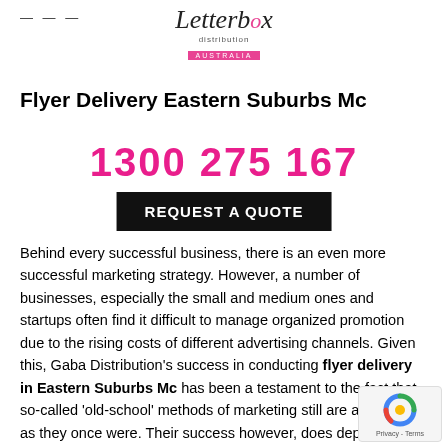— — —
[Figure (logo): Letterbox Distribution Australia logo with stylized cursive text and pink underline banner]
Flyer Delivery Eastern Suburbs Mc
1300 275 167
REQUEST A QUOTE
Behind every successful business, there is an even more successful marketing strategy. However, a number of businesses, especially the small and medium ones and startups often find it difficult to manage organized promotion due to the rising costs of different advertising channels. Given this, Gaba Distribution's success in conducting flyer delivery in Eastern Suburbs Mc has been a testament to the fact that so-called 'old-school' methods of marketing still are as effective as they once were. Their success however, does depend on a lot of factors. People are nowadays accustomed to receiving junk marketing mail on their email IDs. An attractive flyer in their mailb can be soon by them as a pleasant change.